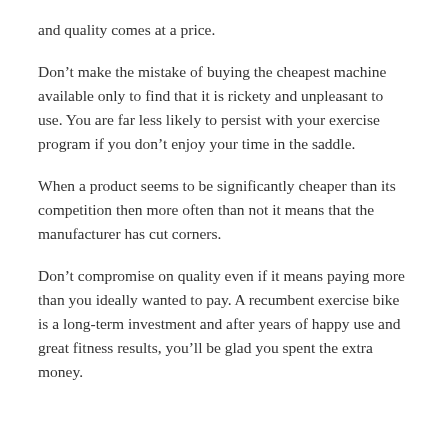and quality comes at a price.
Don't make the mistake of buying the cheapest machine available only to find that it is rickety and unpleasant to use. You are far less likely to persist with your exercise program if you don't enjoy your time in the saddle.
When a product seems to be significantly cheaper than its competition then more often than not it means that the manufacturer has cut corners.
Don't compromise on quality even if it means paying more than you ideally wanted to pay. A recumbent exercise bike is a long-term investment and after years of happy use and great fitness results, you'll be glad you spent the extra money.